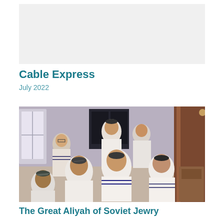[Figure (other): Light gray placeholder image area at top of page]
Cable Express
July 2022
[Figure (photo): Vintage photograph of a group of Jewish men wearing tallitot (prayer shawls) and kippot, gathered together, likely in a synagogue setting]
The Great Aliyah of Soviet Jewry